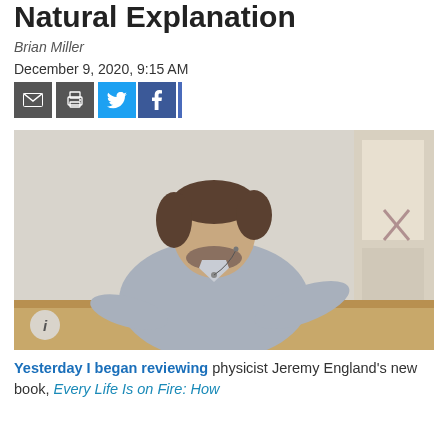Natural Explanation
Brian Miller
December 9, 2020, 9:15 AM
[Figure (other): Social sharing buttons: email (envelope icon), print (printer icon), Twitter (bird icon, light blue background), Facebook (f icon, dark blue background)]
[Figure (photo): A man in a light grey button-up shirt wearing a lapel microphone, gesturing with his right arm, standing in front of a whiteboard. There is a bookshelf or door visible in the background on the right. An info 'i' button is visible in the lower left corner of the photo.]
Yesterday I began reviewing physicist Jeremy England's new book, Every Life Is on Fire: How